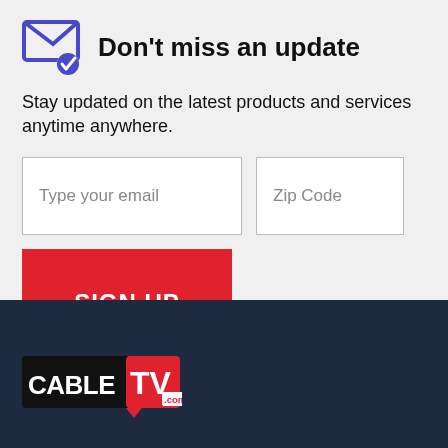Don't miss an update
Stay updated on the latest products and services anytime anywhere.
[Figure (screenshot): Email input field with placeholder 'Type your email']
[Figure (screenshot): Zip Code input field]
[Figure (screenshot): Red SIGN UP button]
By signing up, you agree to our Terms of Use and Privacy Policy.
[Figure (logo): CableTV.com logo on dark navy footer background]